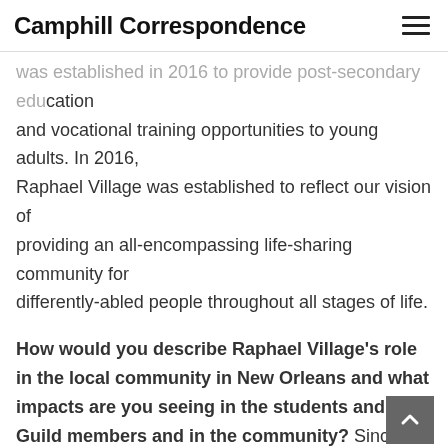Camphill Correspondence
was established in 2016 to provide post-secondary education and vocational training opportunities to young adults. In 2016, Raphael Village was established to reflect our vision of providing an all-encompassing life-sharing community for differently-abled people throughout all stages of life.
How would you describe Raphael Village's role in the local community in New Orleans and what impacts are you seeing in the students and Guild members and in the community? Since its inception, Raphael Village has been in a constant state of growth. This year we began construction on our new Town Center which will serve as the hub for all of our activities and programs and is only two blocks from the Academy. Construction will be complete in the spring of 2021 and we look forward to welcoming the Guild home to the Irish Channel neighborhood. As we emerge from the global pandemic our focus will soon return to the planning of our